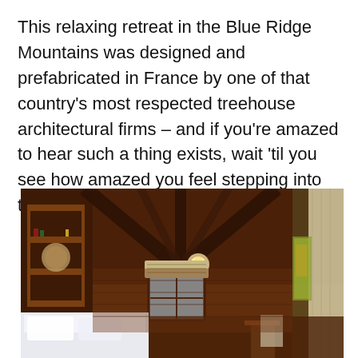This relaxing retreat in the Blue Ridge Mountains was designed and prefabricated in France by one of that country's most respected treehouse architectural firms – and if you're amazed to hear such a thing exists, wait 'til you see how amazed you feel stepping into the Golden Eagle.
[Figure (photo): Interior of a rustic wooden treehouse cabin showing vaulted wooden ceiling with exposed beams, built-in wooden shelving on the left wall, white bedding, a small window with natural light showing autumn foliage outside, a ceiling light fixture, and floor-length curtains on the right.]